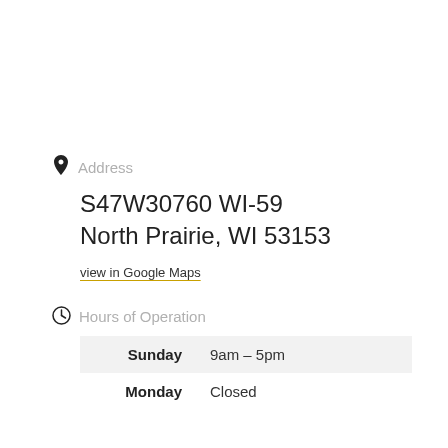Address
S47W30760 WI-59
North Prairie, WI 53153
view in Google Maps
Hours of Operation
| Day | Hours |
| --- | --- |
| Sunday | 9am – 5pm |
| Monday | Closed |